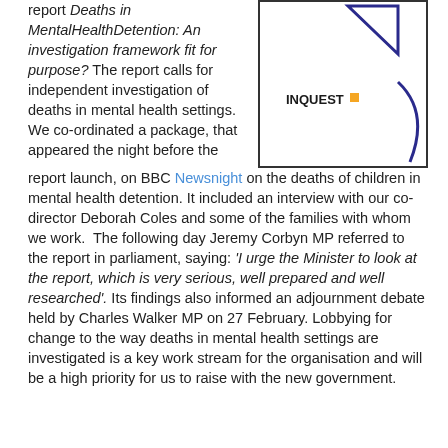report Deaths in MentalHealthDetention: An investigation framework fit for purpose? The report calls for independent investigation of deaths in mental health settings. We co-ordinated a package, that appeared the night before the report launch, on BBC Newsnight on the deaths of children in mental health detention. It included an interview with our co-director Deborah Coles and some of the families with whom we work.  The following day Jeremy Corbyn MP referred to the report in parliament, saying: 'I urge the Minister to look at the report, which is very serious, well prepared and well researched'. Its findings also informed an adjournment debate held by Charles Walker MP on 27 February. Lobbying for change to the way deaths in mental health settings are investigated is a key work stream for the organisation and will be a high priority for us to raise with the new government.
[Figure (logo): INQUEST logo inside a bordered box with a blue geometric figure shape]